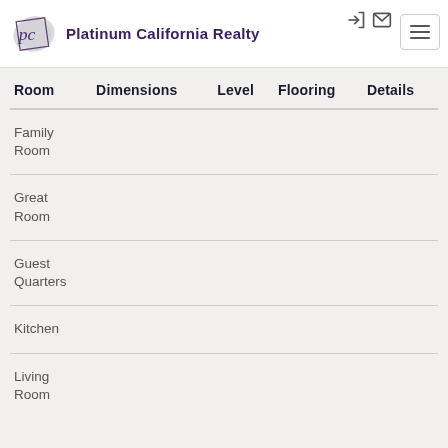Platinum California Realty
| Room | Dimensions | Level | Flooring | Details |
| --- | --- | --- | --- | --- |
| Family Room |  |  |  |  |
| Great Room |  |  |  |  |
| Guest Quarters |  |  |  |  |
| Kitchen |  |  |  |  |
| Living Room |  |  |  |  |